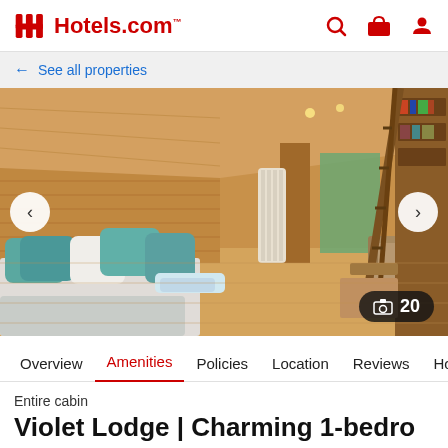Hotels.com
← See all properties
[Figure (photo): Interior of a wooden cabin bedroom with teal and white pillows on a large bed, towels folded on bed, radiator, armchair, bookshelf with ladder, warm wood-panelled walls and ceiling, hardwood floor]
⊞ 20
Overview  Amenities  Policies  Location  Reviews  Host
Entire cabin
Violet Lodge | Charming 1-bedroom